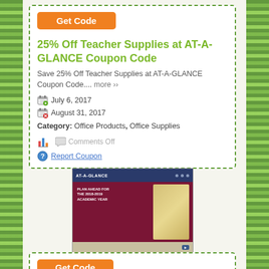[Figure (screenshot): Orange 'Get Code' button at top of coupon card]
25% Off Teacher Supplies at AT-A-GLANCE Coupon Code
Save 25% Off Teacher Supplies at AT-A-GLANCE Coupon Code.... more »
July 6, 2017
August 31, 2017
Category: Office Products, Office Supplies
Comments Off
Report Coupon
[Figure (screenshot): Screenshot of AT-A-GLANCE website showing dark navy header, red/burgundy content area with 'Plan ahead for the 2018-2019 Academic Year' text and product images]
AT-A-GLANCE
[Figure (screenshot): Bottom portion of a second coupon card with orange Get Code button, partially visible]